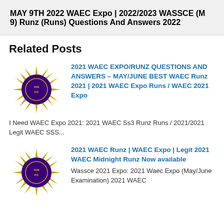MAY 9TH 2022 WAEC Expo | 2022/2023 WASSCE (M 9) Runz (Runs) Questions And Answers 2022
Related Posts
[Figure (logo): WAEC logo - purple star burst with gold text 'waec' in center circle]
2021 WAEC EXPO/RUNZ QUESTIONS AND ANSWERS – MAY/JUNE BEST WAEC Runz 2021 | 2021 WAEC Expo Runs / WAEC 2021 Expo
I Need WAEC Expo 2021: 2021 WAEC Ss3 Runz Runs / 2021/2021 Legit WAEC SSS...
[Figure (logo): WAEC logo - purple star burst with gold text 'waec' in center circle]
2021 WAEC Runz | WAEC Expo | Legit 2021 WAEC Midnight Runz Now available
Wassce 2021 Expo: 2021 Waec Expo (May/June Examination) 2021 WAEC